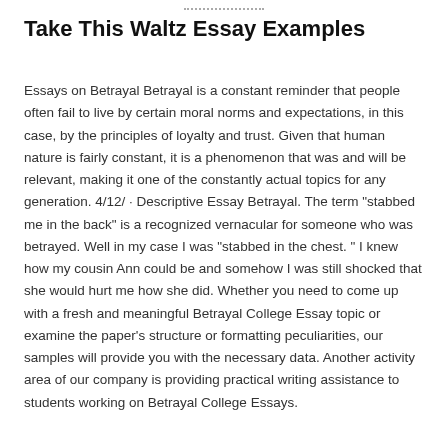Take This Waltz Essay Examples
Essays on Betrayal Betrayal is a constant reminder that people often fail to live by certain moral norms and expectations, in this case, by the principles of loyalty and trust. Given that human nature is fairly constant, it is a phenomenon that was and will be relevant, making it one of the constantly actual topics for any generation. 4/12/ · Descriptive Essay Betrayal. The term "stabbed me in the back" is a recognized vernacular for someone who was betrayed. Well in my case I was "stabbed in the chest. " I knew how my cousin Ann could be and somehow I was still shocked that she would hurt me how she did. Whether you need to come up with a fresh and meaningful Betrayal College Essay topic or examine the paper's structure or formatting peculiarities, our samples will provide you with the necessary data. Another activity area of our company is providing practical writing assistance to students working on Betrayal College Essays.